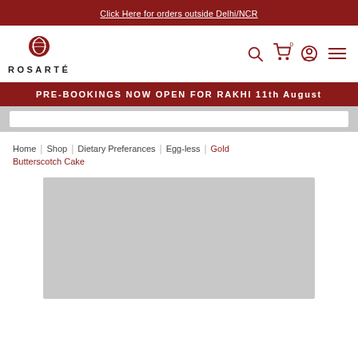Click Here for orders outside Delhi/NCR
[Figure (logo): Rosarte logo with circular leaf/stripe emblem above the brand name ROSARTÉ]
PRE-BOOKINGS NOW OPEN FOR RAKHI 11th August
Home | Shop | Dietary Preferances | Egg-less | Gold Butterscotch Cake
[Figure (photo): Product image placeholder (gray rectangle) for Gold Butterscotch Cake]